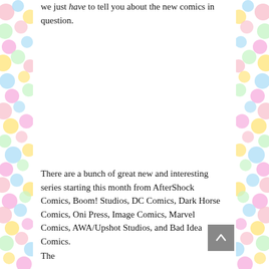we just have to tell you about the new comics in question.
There are a bunch of great new and interesting series starting this month from AfterShock Comics, Boom! Studios, DC Comics, Dark Horse Comics, Oni Press, Image Comics, Marvel Comics, AWA/Upshot Studios, and Bad Idea Comics.
The...